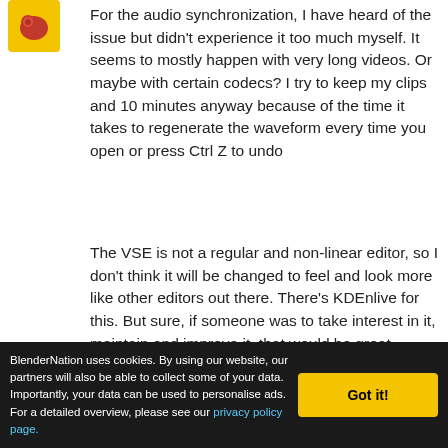[Figure (illustration): Small avatar icon with red/orange design on yellow background]
For the audio synchronization, I have heard of the issue but didn't experience it too much myself. It seems to mostly happen with very long videos. Or maybe with certain codecs? I try to keep my clips and 10 minutes anyway because of the time it takes to regenerate the waveform every time you open or press Ctrl Z to undo
The VSE is not a regular and non-linear editor, so I don't think it will be changed to feel and look more like other editors out there. There's KDEnlive for this. But sure, if someone was to take interest in it, maintain and improve it, that would be great. Having
BlenderNation uses cookies. By using our website, our partners will also be able to collect some of your data. Importantly, your data can be used to personalise ads. For a detailed overview, please see our privacy policy page.